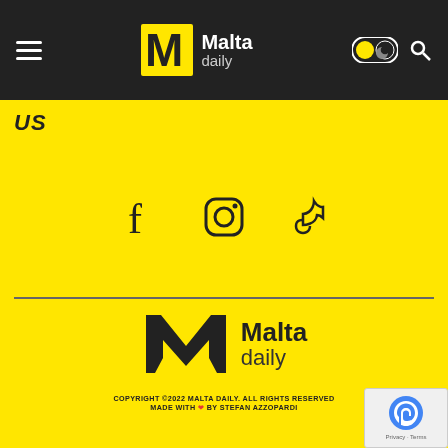Malta Daily navigation bar
[Figure (logo): Malta Daily logo in nav bar — yellow M icon with Malta daily text in white]
US
[Figure (infographic): Social media icons row: Facebook, Instagram, TikTok]
[Figure (logo): Large Malta Daily logo on yellow background — bold dark M icon with Malta daily text]
COPYRIGHT ©2022 MALTA DAILY. ALL RIGHTS RESERVED MADE WITH ❤ BY STEFAN AZZOPARDI